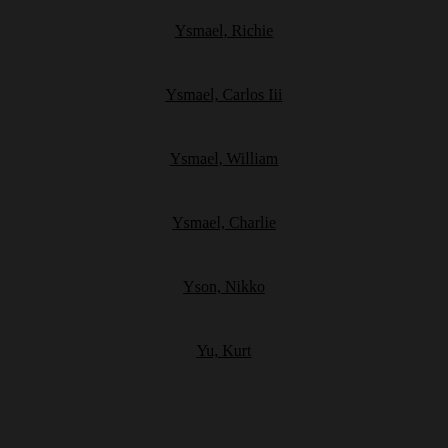Ysmael, Richie
Ysmael, Carlos Iii
Ysmael, William
Ysmael, Charlie
Yson, Nikko
Yu, Kurt